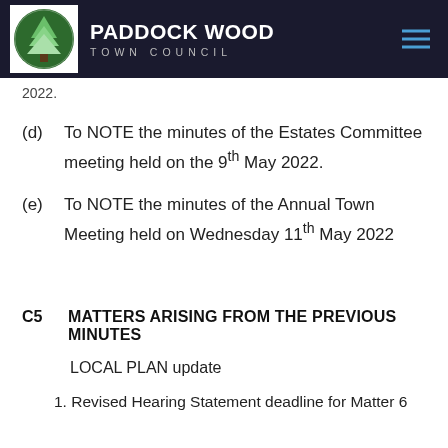Paddock Wood Town Council
2022.
(d)    To NOTE the minutes of the Estates Committee meeting held on the 9th May 2022.
(e)    To NOTE the minutes of the Annual Town Meeting held on Wednesday 11th May 2022
C5    MATTERS ARISING FROM THE PREVIOUS MINUTES
LOCAL PLAN update
1. Revised Hearing Statement deadline for Matter 6